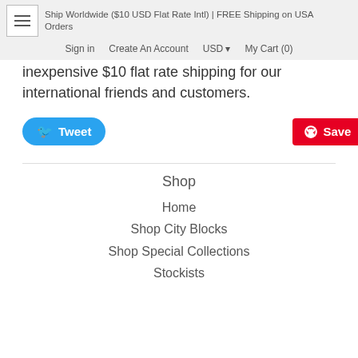Ship Worldwide ($10 USD Flat Rate Intl) | FREE Shipping on USA Orders
Sign in   Create An Account   USD   My Cart (0)
inexpensive $10 flat rate shipping for our international friends and customers.
[Figure (other): Tweet button (Twitter) and Pinterest Save button with count of 4]
Shop
Home
Shop City Blocks
Shop Special Collections
Stockists